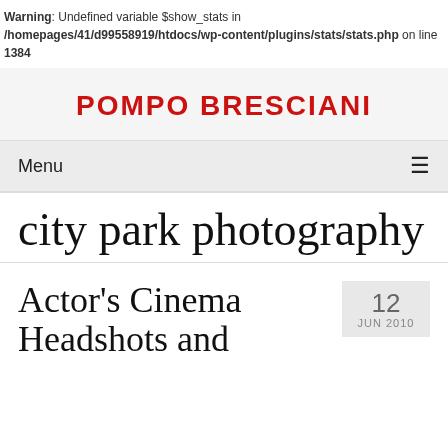Warning: Undefined variable $show_stats in /homepages/41/d99558919/htdocs/wp-content/plugins/stats/stats.php on line 1384
POMPO BRESCIANI
Menu
city park photography
Actor's Cinema Headshots and